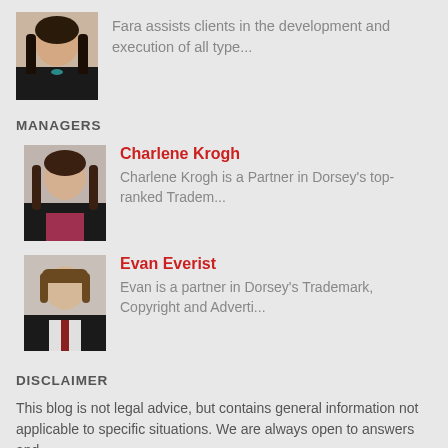Fara assists clients in the development and execution of all type...
MANAGERS
Charlene Krogh
Charlene Krogh is a Partner in Dorsey's top-ranked Tradem...
Evan Everist
Evan is a partner in Dorsey's Trademark, Copyright and Adverti...
DISCLAIMER
This blog is not legal advice, but contains general information not applicable to specific situations. We are always open to answers and...